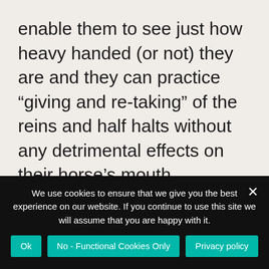enable them to see just how heavy handed (or not) they are and they can practice “giving and re-taking” of the reins and half halts without any detrimental effects on their horse’s mouth.
Once we become aware of our own, and our horse’s asymmetries we can use “dressage” exercises as physiotherapy for our horse. Changes of bend in motion are really good
We use cookies to ensure that we give you the best experience on our website. If you continue to use this site we will assume that you are happy with it.